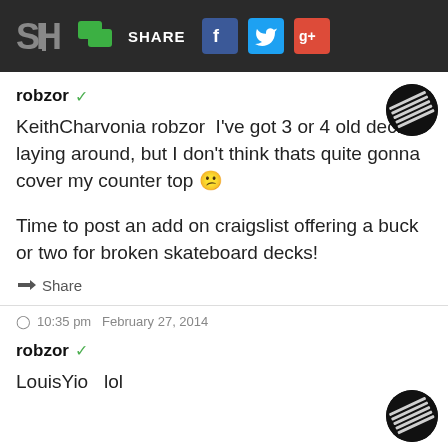SH SHARE [Facebook] [Twitter] [Google+]
robzor ✓
KeithCharvonia robzor  I've got 3 or 4 old decks laying around, but I don't think thats quite gonna cover my counter top 😕
Time to post an add on craigslist offering a buck or two for broken skateboard decks!
Share
🕐 10:35 pm  February 27, 2014
robzor ✓
LouisYio  lol